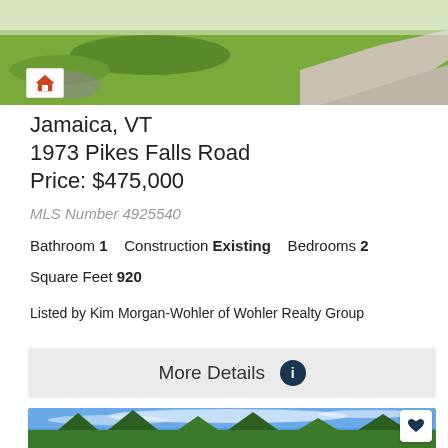[Figure (photo): Top partial photo of property showing grass lawn and gravel driveway with home icon overlay]
Jamaica, VT
1973 Pikes Falls Road
Price: $475,000
MLS Number 4925540
Bathroom 1   Construction Existing   Bedrooms 2
Square Feet 920
Listed by Kim Morgan-Wohler of Wohler Realty Group
[Figure (other): More Details button with info icon]
[Figure (photo): Bottom photo showing blue sky with wispy clouds and tree line, with heart/favorite button overlay]